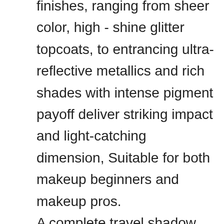finishes, ranging from sheer color, high - shine glitter topcoats, to entrancing ultra-reflective metallics and rich shades with intense pigment payoff deliver striking impact and light-catching dimension, Suitable for both makeup beginners and makeup pros.
A complete travel shadow collection that can be bought as personal use to accomplish your everyday makeup routine or as a great gift for your family members and friends.
Suitable for different occasions and